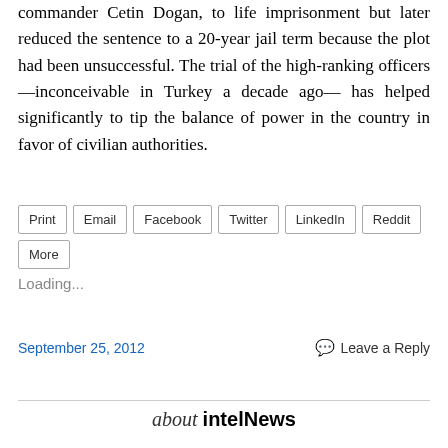commander Cetin Dogan, to life imprisonment but later reduced the sentence to a 20-year jail term because the plot had been unsuccessful. The trial of the high-ranking officers —inconceivable in Turkey a decade ago— has helped significantly to tip the balance of power in the country in favor of civilian authorities.
Print
Email
Facebook
Twitter
LinkedIn
Reddit
More
Loading...
September 25, 2012    Leave a Reply
about intelNews